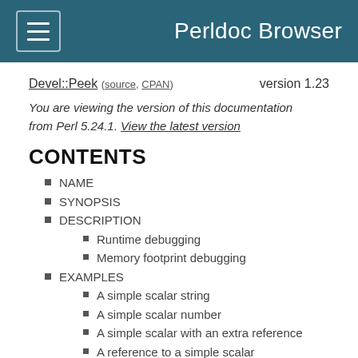Perldoc Browser
Devel::Peek (source, CPAN)   version 1.23
You are viewing the version of this documentation from Perl 5.24.1. View the latest version
CONTENTS
NAME
SYNOPSIS
DESCRIPTION
Runtime debugging
Memory footprint debugging
EXAMPLES
A simple scalar string
A simple scalar number
A simple scalar with an extra reference
A reference to a simple scalar
A reference to an array